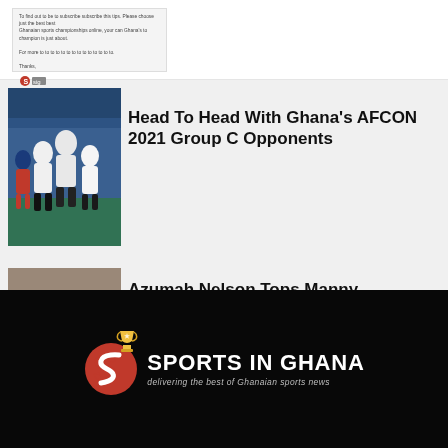[Figure (screenshot): Top partial article card showing text content and a small signature/logo, white background]
[Figure (photo): Ghana football players in white jerseys celebrating on pitch]
Head To Head With Ghana's AFCON 2021 Group C Opponents
[Figure (photo): Portrait photo of Azumah Nelson, an older Black man with grey beard]
Azumah Nelson Tops Manny Pacquaio In List Of Top 5 Super Featherweights Of All Time
[Figure (logo): Sports In Ghana logo — red S letter mark with gold trophy icon, white text 'SPORTS IN GHANA', tagline 'delivering the best of Ghanaian sports news']